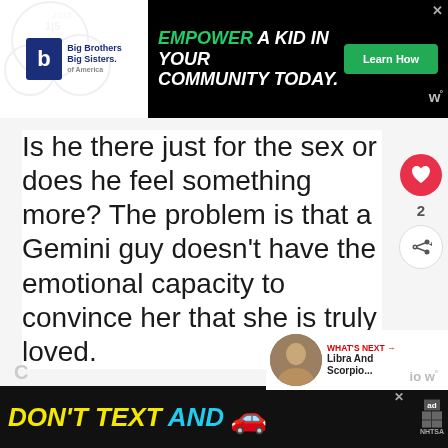[Figure (screenshot): Top advertisement banner: Big Brothers Big Sisters logo on white background left side, black background right side with text 'EMPOWER A KID IN YOUR COMMUNITY TODAY.' and green 'Learn How' button]
Is he there just for the sex or does he feel something more? The problem is that a Gemini guy doesn't have the emotional capacity to convince her that she is truly loved.
[Figure (screenshot): Bottom advertisement banner: black background with 'DON'T TEXT AND' in yellow and cyan bold italic text, red car emoji, ad badge, NHTSA logo]